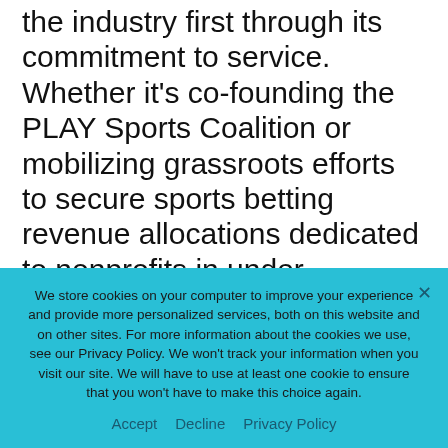the industry first through its commitment to service. Whether it's co-founding the PLAY Sports Coalition or mobilizing grassroots efforts to secure sports betting revenue allocations dedicated to nonprofits in under-resourced communities, LeagueApps makes the industry stronger, together, at every touchpoint. I'm proud to join LeagueApps in reimagining the ways we can make a better world through sport."
Alongside existing investors, including Paul Rabil
We store cookies on your computer to improve your experience and provide more personalized services, both on this website and on other sites. For more information about the cookies we use, see our Privacy Policy. We won't track your information when you visit our site. We will have to use at least one cookie to ensure that you won't have to make this choice again.
Accept   Decline   Privacy Policy